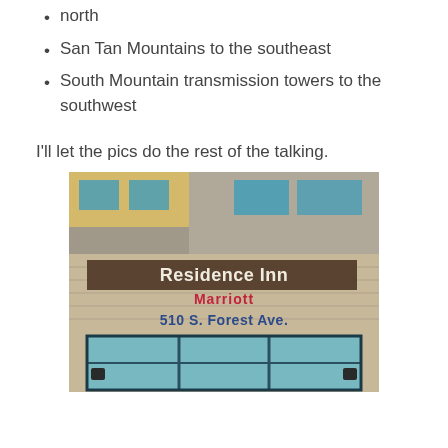north
San Tan Mountains to the southeast
South Mountain transmission towers to the southwest
I'll let the pics do the rest of the talking.
[Figure (photo): Exterior of Residence Inn Marriott hotel building, showing the sign reading 'Residence Inn', 'Marriott', and '510 S. Forest Ave.' on a stone-clad facade with blue windows.]